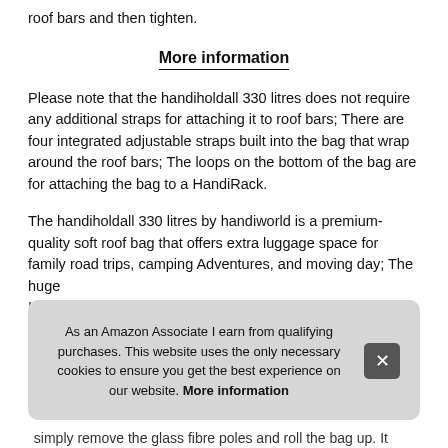roof bars and then tighten.
More information
Please note that the handiholdall 330 litres does not require any additional straps for attaching it to roof bars; There are four integrated adjustable straps built into the bag that wrap around the roof bars; The loops on the bottom of the bag are for attaching the bag to a HandiRack.
The handiholdall 330 litres by handiworld is a premium-quality soft roof bag that offers extra luggage space for family road trips, camping Adventures, and moving day; The huge INT... wee... insi... 110... Han...
As an Amazon Associate I earn from qualifying purchases. This website uses the only necessary cookies to ensure you get the best experience on our website. More information
... simply remove the glass fibre poles and roll the bag up. It